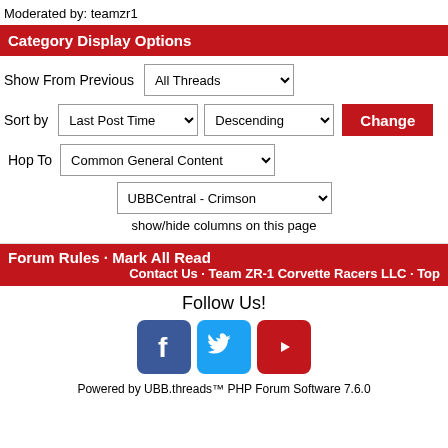Moderated by: teamzr1
Category Display Options
Show From Previous   All Threads
Sort by   Last Post Time   Descending   Change
Hop To   Common General Content
UBBCentral - Crimson
show/hide columns on this page
Forum Rules · Mark All Read
Contact Us · Team ZR-1 Corvette Racers LLC · Top
Follow Us!
[Figure (illustration): Social media icons: Facebook, Twitter, YouTube]
Powered by UBB.threads™ PHP Forum Software 7.6.0